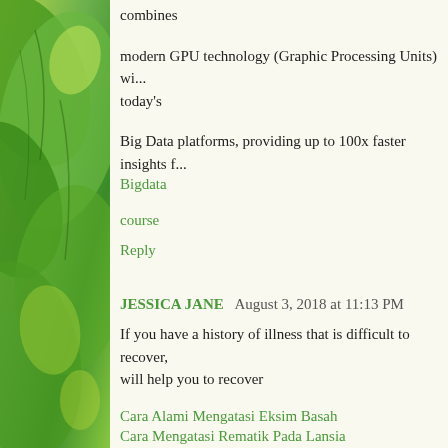[Figure (photo): Green leaves background on left side panel]
combines
modern GPU technology (Graphic Processing Units) wi... today's
Big Data platforms, providing up to 100x faster insights f...
Bigdata
course
Reply
JESSICA JANE  August 3, 2018 at 11:13 PM
If you have a history of illness that is difficult to recover, will help you to recover
Cara Alami Mengatasi Eksim Basah
Cara Mengatasi Rematik Pada Lansia
Obat Radang Lambung
Pengobatan Flek Paru-paru
Pengobatan konjungtivitis paling ampuh
Reply